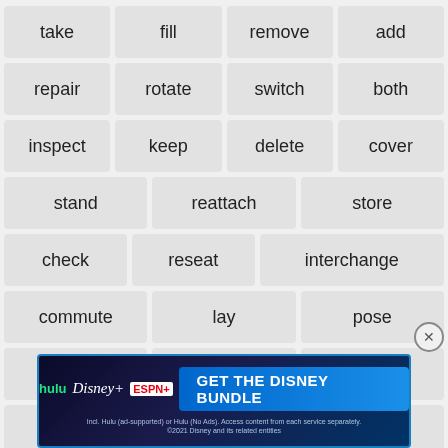take
fill
remove
add
repair
rotate
switch
both
inspect
keep
delete
cover
stand
reattach
store
check
reseat
interchange
commute
lay
pose
position
set
reduce
truncate
oust
follow
replacing
replaced
replaces
[Figure (screenshot): Hulu Disney+ ESPN+ Get The Disney Bundle advertisement banner]